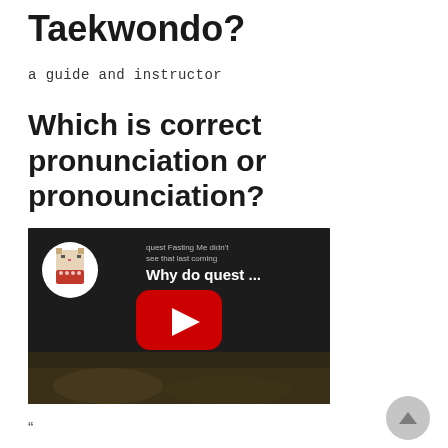Taekwondo?
a guide and instructor
Which is correct pronunciation or pronounciation?
[Figure (screenshot): YouTube video thumbnail showing a cat character channel icon, text overlay 'Why do quest ...' with title text, and a red YouTube play button on a dark background. Bottom shows food imagery.]
"
What do you say at the beginning of Taekwondo class?